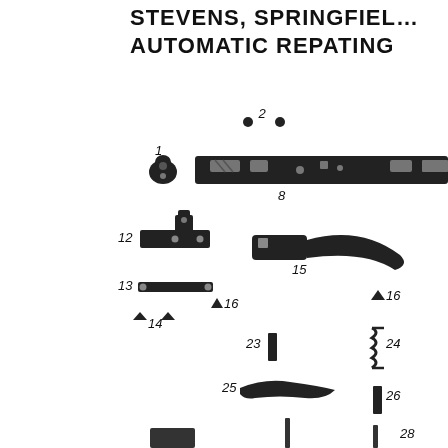STEVENS, SPRINGFIELD AUTOMATIC REPATING
[Figure (engineering-diagram): Exploded parts diagram of a Stevens/Springfield automatic repeating firearm. Parts are labeled with numbers: 1 (small part, upper left area), 2 (two dots/pins), 8 (long receiver/barrel strip), 12 (bracket part), 13 (flat bar), 14 (two small triangular pins), 15 (trigger/lever part), 16 (three small triangular parts in different positions), 23 (small rectangular pin), 24 (spring), 25 (curved lever/hammer part), 26 (small rectangular pin), and partial parts at bottom (28 and others cut off).]